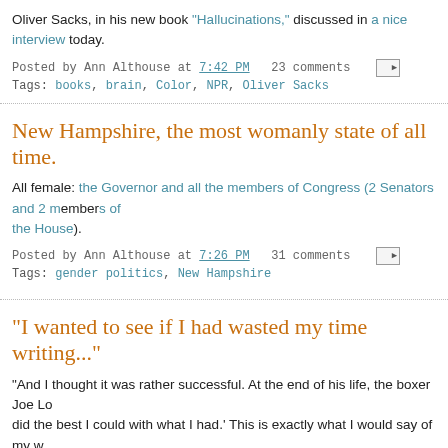Oliver Sacks, in his new book "Hallucinations," discussed in a nice interview today.
Posted by Ann Althouse at 7:42 PM   23 comments
Tags: books, brain, Color, NPR, Oliver Sacks
New Hampshire, the most womanly state of all time.
All female: the Governor and all the members of Congress (2 Senators and 2 members of the House).
Posted by Ann Althouse at 7:26 PM   31 comments
Tags: gender politics, New Hampshire
"I wanted to see if I had wasted my time writing..."
"And I thought it was rather successful. At the end of his life, the boxer Joe Lo... did the best I could with what I had.' This is exactly what I would say of my w...